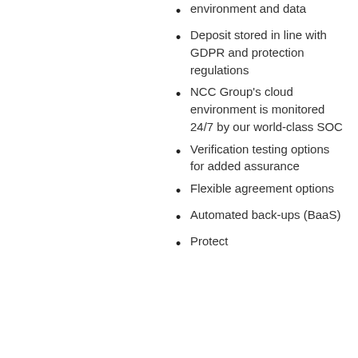environment and data
Deposit stored in line with GDPR and protection regulations
NCC Group's cloud environment is monitored 24/7 by our world-class SOC
Verification testing options for added assurance
Flexible agreement options
Automated back-ups (BaaS)
Protect